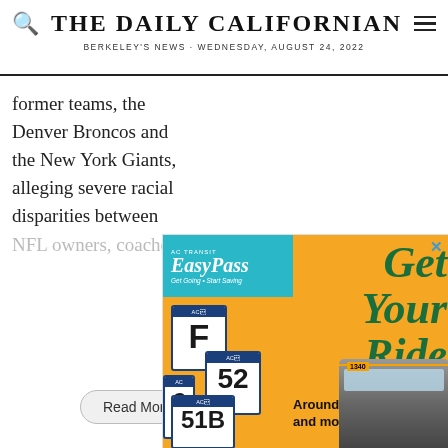THE DAILY CALIFORNIAN — BERKELEY'S NEWS · WEDNESDAY, AUGUST 24, 2022
former teams, the Denver Broncos and the New York Giants, alleging severe racial disparities between NFL owners, coaches
[Figure (illustration): AC Transit EasyPass advertisement with orange background. Shows bus route signs (F, 52, 51B, 6, 7), a bus photo, and script text reading 'Get Your Ride — Around campus— and more!']
Read More